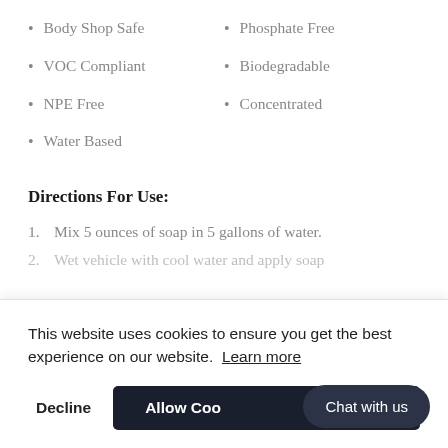Body Shop Safe
Phosphate Free
VOC Compliant
Biodegradable
NPE Free
Concentrated
Water Based
Directions For Use:
Mix 5 ounces of soap in 5 gallons of water.
Wet vehicle with cool water and apply soap
This website uses cookies to ensure you get the best experience on our website. Learn more
Decline
Allow Cookies
Chat with us